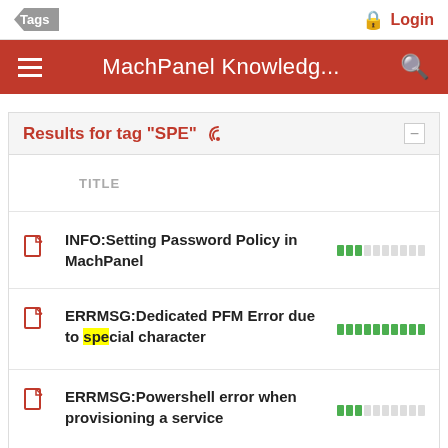Tags | Login
MachPanel Knowledg...
Results for tag "SPE"
TITLE
INFO:Setting Password Policy in MachPanel
ERRMSG:Dedicated PFM Error due to special character
ERRMSG:Powershell error when provisioning a service
HOW TO:Exchange Email template values